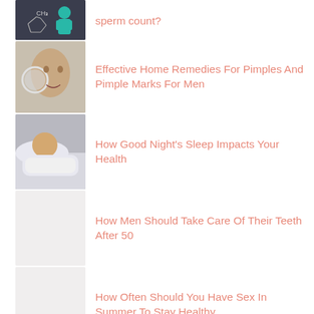sperm count?
Effective Home Remedies For Pimples And Pimple Marks For Men
How Good Night's Sleep Impacts Your Health
How Men Should Take Care Of Their Teeth After 50
How Often Should You Have Sex In Summer To Stay Healthy
How To Get Rid Of Muscle Cramps Due To Gym Workout